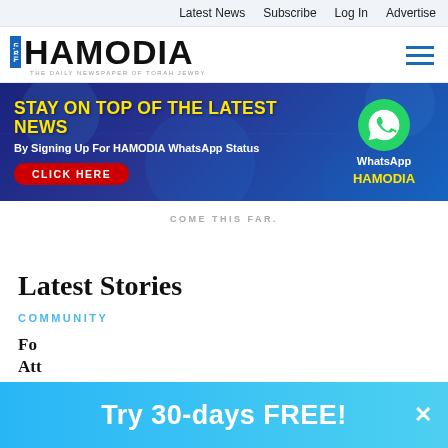Latest News  Subscribe  Log In  Advertise
[Figure (logo): Hamodia newspaper logo with tagline 'THE DAILY NEWSPAPER OF TORAH JEWRY' and hamburger menu icon]
[Figure (infographic): WhatsApp promotional banner: 'STAY ON TOP OF THE LATEST NEWS By Signing Up For HAMODIA WhatsApp Status CLICK HERE' with WhatsApp icon and HAMODIA label]
COME THIS FAR.
Latest Stories
COMMUNITY
Fo... Att...
Try 30-days FREE!